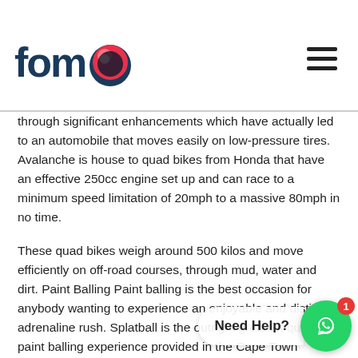fomo
through significant enhancements which have actually led to an automobile that moves easily on low-pressure tires. Avalanche is house to quad bikes from Honda that have an effective 250cc engine set up and can race to a minimum speed limitation of 20mph to a massive 80mph in no time.
These quad bikes weigh around 500 kilos and move efficiently on off-road courses, through mud, water and dirt. Paint Balling Paint balling is the best occasion for anybody wanting to experience an enjoyable and distinct adrenaline rush. Splatball is the outright greatest quality paint balling experience provided in the Cape Town location.
At Splatball the tidy and really high quality centers consist of, a paved car park, indoor toilets, and a viewer location for friends and family who simply desire to see the action unfold prior to them. The paint within the balls is a non-discoloration color which will not harm you (as long as you and your celebration describe the guide’s pa staining we do not advise bringing your finest matches or gowns the fact that there is still the really high possibility of getting dirt and mud